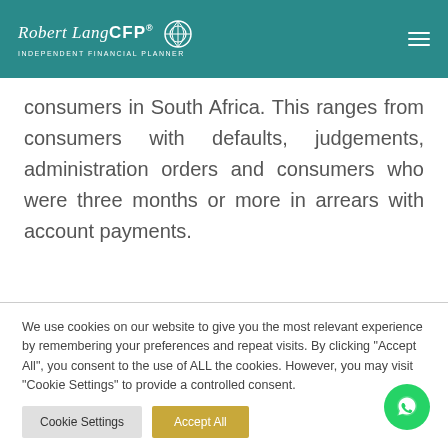Robert Lang CFP® INDEPENDENT FINANCIAL PLANNER
consumers in South Africa. This ranges from consumers with defaults, judgements, administration orders and consumers who were three months or more in arrears with account payments.
We use cookies on our website to give you the most relevant experience by remembering your preferences and repeat visits. By clicking "Accept All", you consent to the use of ALL the cookies. However, you may visit "Cookie Settings" to provide a controlled consent.